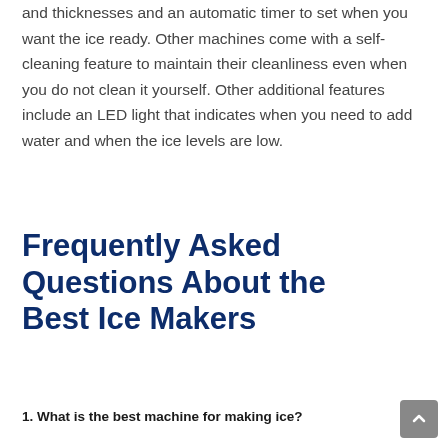and thicknesses and an automatic timer to set when you want the ice ready. Other machines come with a self-cleaning feature to maintain their cleanliness even when you do not clean it yourself. Other additional features include an LED light that indicates when you need to add water and when the ice levels are low.
Frequently Asked Questions About the Best Ice Makers
1. What is the best machine for making ice?